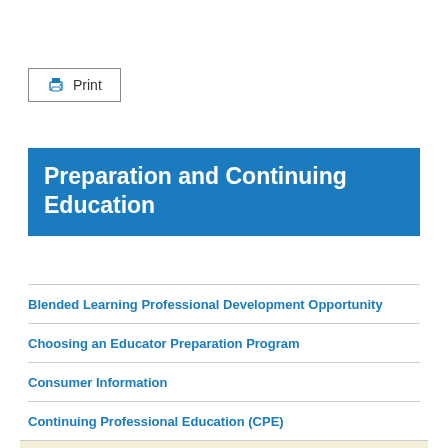[Figure (other): Print button with printer icon and border]
Preparation and Continuing Education
Blended Learning Professional Development Opportunity
Choosing an Educator Preparation Program
Consumer Information
Continuing Professional Education (CPE)
Teacher Survey
Principal Survey